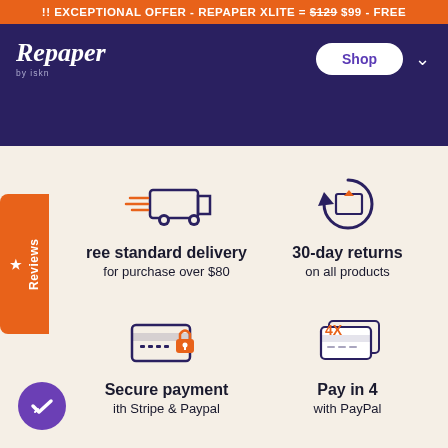!! EXCEPTIONAL OFFER - REPAPER XLITE = $129 $99 - FREE
[Figure (logo): Repaper by iskn logo in white italic script on navy background, with Shop button]
[Figure (infographic): Four feature icons: delivery truck (Free standard delivery for purchase over $80), return arrow (30-day returns on all products), secure card with lock (Secure payment with Stripe & Paypal), 4X card (Pay in 4 with PayPal). Reviews tab on left side. Checkmark badge bottom left.]